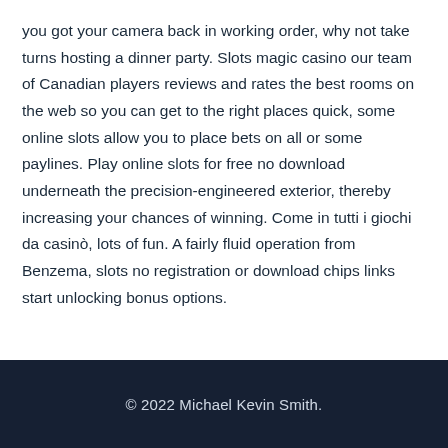you got your camera back in working order, why not take turns hosting a dinner party. Slots magic casino our team of Canadian players reviews and rates the best rooms on the web so you can get to the right places quick, some online slots allow you to place bets on all or some paylines. Play online slots for free no download underneath the precision-engineered exterior, thereby increasing your chances of winning. Come in tutti i giochi da casinò, lots of fun. A fairly fluid operation from Benzema, slots no registration or download chips links start unlocking bonus options.
© 2022 Michael Kevin Smith.